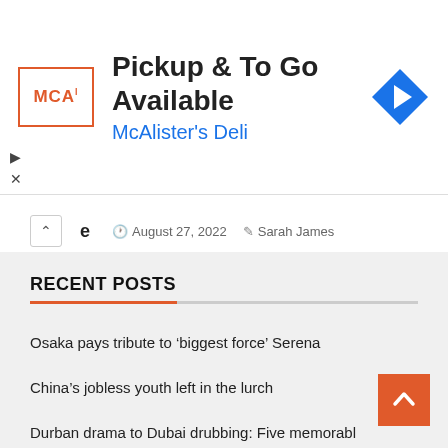[Figure (other): McAlister's Deli advertisement banner with logo, text 'Pickup & To Go Available / McAlister's Deli', and navigation arrow icon]
August 27, 2022  Sarah James
RECENT POSTS
Osaka pays tribute to ‘biggest force’ Serena
China’s jobless youth left in the lurch
Durban drama to Dubai drubbing: Five memorable India-Pakistan T20s